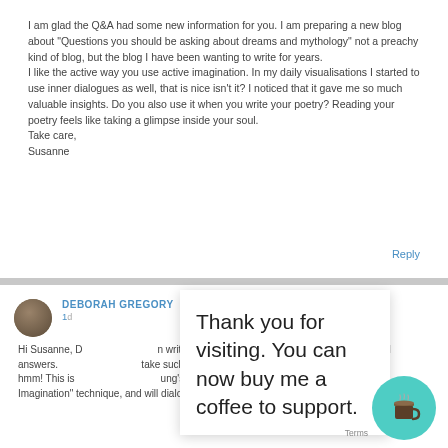I am glad the Q&A had some new information for you. I am preparing a new blog about "Questions you should be asking about dreams and mythology" not a preachy kind of blog, but the blog I have been wanting to write for years.
I like the active way you use active imagination. In my daily visualisations I started to use inner dialogues as well, that is nice isn't it? I noticed that it gave me so much valuable insights. Do you also use it when you write your poetry? Reading your poetry feels like taking a glimpse inside your soul.
Take care,
Susanne
Reply
DEBORAH GREGORY
1d
Thank you for visiting. You can now buy me a coffee to support.
Hi Susanne, D... n written by someone wh... ccinct and answers... take such significa... any h... hmm! This is ... ung's "A... Imagination" technique, and will dialogue with my dream characters. Warm wishes to